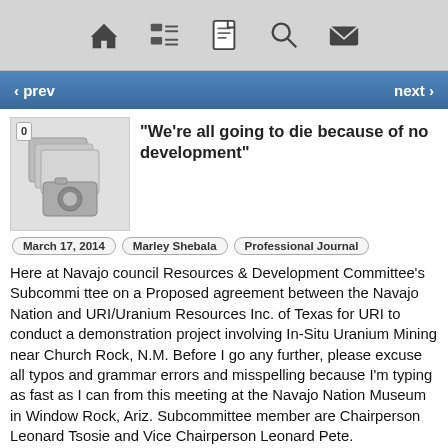toolbar with home, list, document, search, mail icons
‹ prev   next ›
“We’re all going to die because of no development”
March 17, 2014   Marley Shebala   Professional Journal
Here at Navajo council Resources & Development Committee’s Subcommi ttee on a Proposed agreement between the Navajo Nation and URI/Uranium Resources Inc. of Texas for URI to conduct a demonstration project involving In-Situ Uranium Mining near Church Rock, N.M. Before I go any further, please excuse all typos and grammar errors and misspelling because I’m typing as fast as I can from this meeting at the Navajo Nation Museum in Window Rock, Ariz. Subcommittee member are Chairperson Leonard Tsosie and Vice Chairperson Leonard Pete.
PETE
I’m thinking after I read all comments on this, I’m thinking we’re all going to die because of no development. Like we are in burning building. How do we get out of this? 75 percent of Navajo